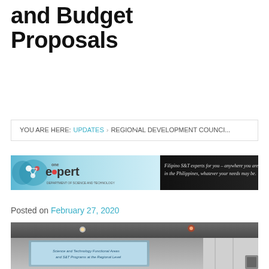and Budget Proposals
YOU ARE HERE: UPDATES › REGIONAL DEVELOPMENT COUNCI...
[Figure (screenshot): One Expert banner advertisement by the Department of Science and Technology Philippines, showing logo and tagline: 'Filipino S&T experts for you – anywhere you are in the Philippines, whatever your needs may be.']
Posted on February 27, 2020
[Figure (photo): Indoor conference room photo showing a projector screen displaying 'Science and Technology Functional Areas and S&T Programs at the Regional Level']